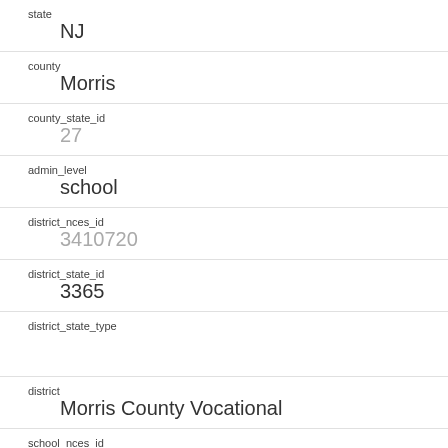| Field | Value |
| --- | --- |
| state | NJ |
| county | Morris |
| county_state_id | 27 |
| admin_level | school |
| district_nces_id | 3410720 |
| district_state_id | 3365 |
| district_state_type |  |
| district | Morris County Vocational |
| school_nces_id | 341072003474 |
| school_state_id | 303 |